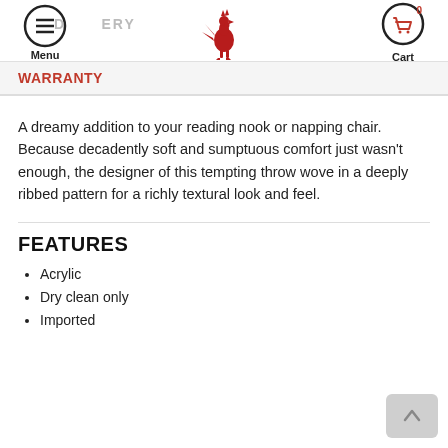Menu | [rooster logo] | Cart 0
WARRANTY
A dreamy addition to your reading nook or napping chair. Because decadently soft and sumptuous comfort just wasn't enough, the designer of this tempting throw wove in a deeply ribbed pattern for a richly textural look and feel.
FEATURES
Acrylic
Dry clean only
Imported